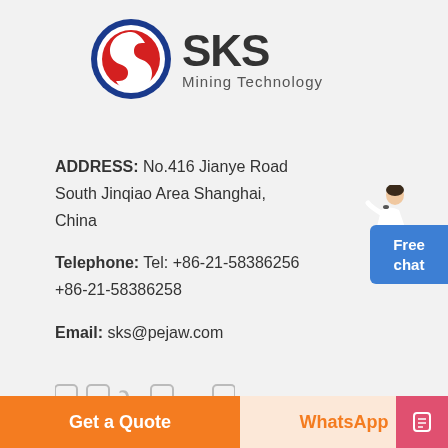[Figure (logo): SKS Mining Technology logo: red and blue circular emblem with S letter, next to bold text SKS and subtitle Mining Technology]
ADDRESS: No.416 Jianye Road South Jinqiao Area Shanghai, China
Telephone: Tel: +86-21-58386256 +86-21-58386258
Email: sks@pejaw.com
[Figure (other): Six social media/contact icons in a row]
[Figure (illustration): Customer service representative figure (woman) standing with hand gesturing]
[Figure (other): Free chat button (blue rounded rectangle)]
SERVICES
Get a Quote
WhatsApp